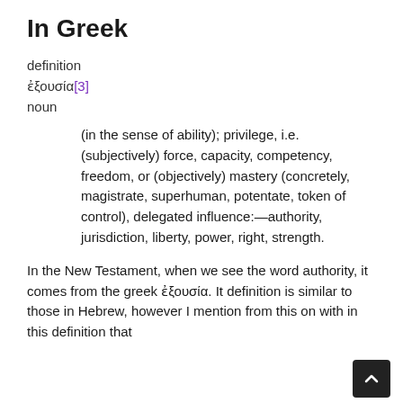...
In Greek
definition
ἐξουσία[3]
noun
(in the sense of ability); privilege, i.e. (subjectively) force, capacity, competency, freedom, or (objectively) mastery (concretely, magistrate, superhuman, potentate, token of control), delegated influence:—authority, jurisdiction, liberty, power, right, strength.
In the New Testament, when we see the word authority, it comes from the greek ἐξουσία. It definition is similar to those in Hebrew, however I mention from this on with in this definition that